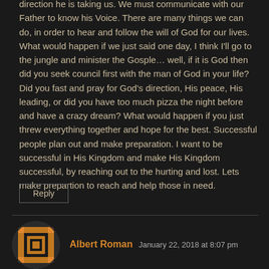direction he is taking us. We must communicate with our Father to know his Voice. There are many things we can do, in order to hear and follow the will of God for our lives. What would happen if we just said one day, I think I'll go to the jungle and minister the Gosple… well, if it is God then did you seek council first with the man of God in your life? Did you fast and pray for God's direction, His peace, His leading, or did you have too much pizza the night before and have a crazy dream? What would happen if you just threw everything together and hope for the best. Successful people plan out and make preparation. I want to be successful in His Kingdom and make His Kingdom successful, by reaching out to the hurting and lost. Lets make prepartion to reach and help those in need.
Reply
Albert Roman  January 22, 2018 at 8:07 pm